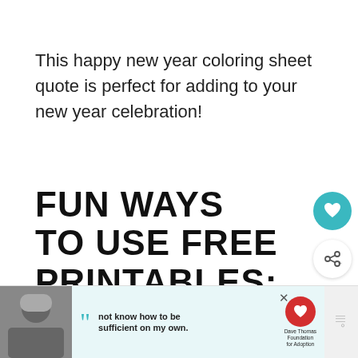This happy new year coloring sheet quote is perfect for adding to your new year celebration!
FUN WAYS TO USE FREE PRINTABLES:
Create a coloring and activity
Paint the printable, frame it and give to
[Figure (other): Advertisement banner at bottom of page with a black and white photo of a person, quote text 'not know how to be sufficient on my own.', Dave Thomas Foundation for Adoption logo, and close button]
[Figure (other): WHAT'S NEXT panel showing Free Printable Christmas... with thumbnail image]